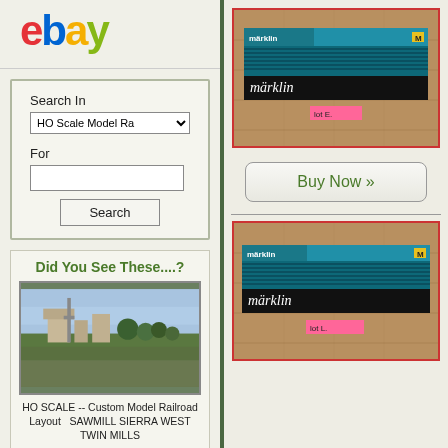[Figure (logo): eBay logo in red, blue, yellow, green colors]
Search In
HO Scale Model Ra
For
Search
Did You See These....?
[Figure (photo): HO Scale Custom Model Railroad Layout SAWMILL SIERRA WEST TWIN MILLS]
HO SCALE -- Custom Model Railroad Layout   SAWMILL SIERRA WEST TWIN MILLS
$15,900.00
[Figure (photo): Marklin model train track set in blue box labeled lot E]
Buy Now »
[Figure (photo): Marklin model train track set in blue box labeled lot L]